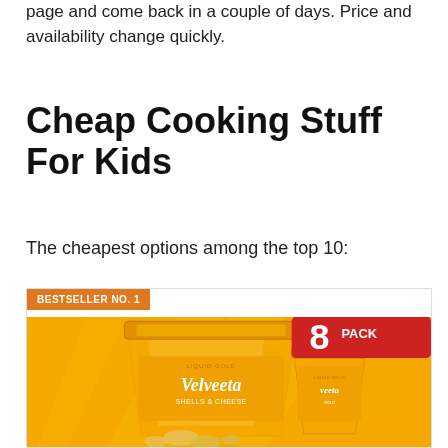page and come back in a couple of days. Price and availability change quickly.
Cheap Cooking Stuff For Kids
The cheapest options among the top 10:
[Figure (photo): Product image of Velveeta Shells & Cheese 8 Pack on orange/yellow background with red '8 PACK' badge in upper right corner]